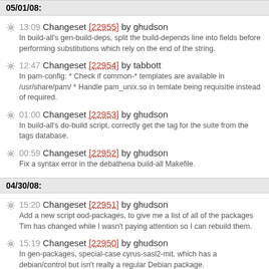05/01/08:
13:09 Changeset [22955] by ghudson
In build-all's gen-build-deps, split the build-depends line into fields before performing substitutions which rely on the end of the string.
12:47 Changeset [22954] by tabbott
In pam-config: * Check if common-* templates are available in /usr/share/pam/ * Handle pam_unix.so in temlate being requisitie instead of required.
01:00 Changeset [22953] by ghudson
In build-all's do-build script, correctly get the tag for the suite from the tags database.
00:59 Changeset [22952] by ghudson
Fix a syntax error in the debathena build-all Makefile.
04/30/08:
15:20 Changeset [22951] by ghudson
Add a new script ood-packages, to give me a list of all of the packages Tim has changed while I wasn't paying attention so I can rebuild them.
15:19 Changeset [22950] by ghudson
In gen-packages, special-case cyrus-sasl2-mit, which has a debian/control but isn't really a regular Debian package.